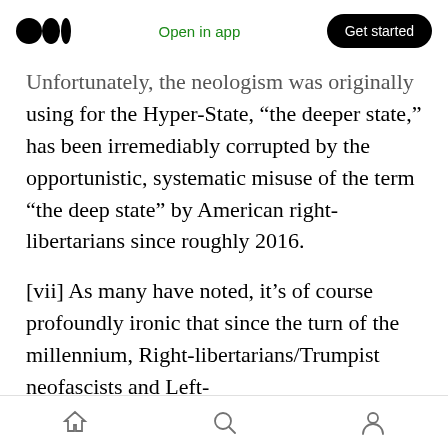Medium logo | Open in app | Get started
Unfortunately, the neologism was originally using for the Hyper-State, “the deeper state,” has been irremediably corrupted by the opportunistic, systematic misuse of the term “the deep state” by American right-libertarians since roughly 2016.
[vii] As many have noted, it’s of course profoundly ironic that since the turn of the millennium, Right-libertarians/Trumpist neofascists and Left-postmodernists/identitarian multiculturalists have fully converged in their ideological commitments to cognitive relativism
Home | Search | Profile